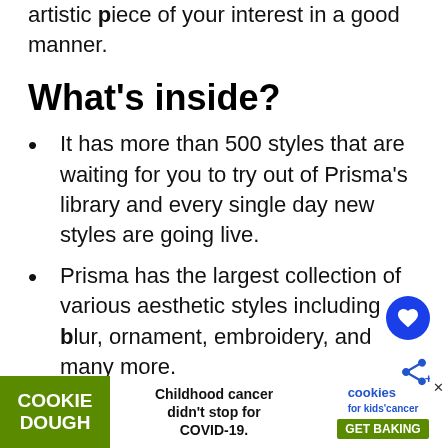artistic piece of your interest in a good manner.
What's inside?
It has more than 500 styles that are waiting for you to try out of Prisma's library and every single day new styles are going live.
Prisma has the largest collection of various aesthetic styles including blur, ornament, embroidery, and many more.
You can separately add styles to the person and background and create more amazing picture after adding filters and effects which is favourable to the background and pers
If you are not that good at editing, just try
[Figure (other): Advertisement banner: Cookie Dough brand ad saying 'Childhood cancer didn't stop for COVID-19' with cookies for kids' cancer logo and GET BAKING button]